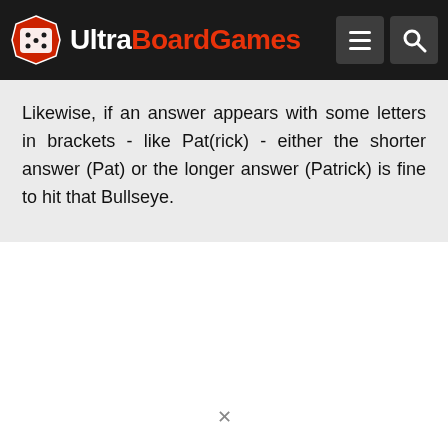Ultra BoardGames
Likewise, if an answer appears with some letters in brackets - like Pat(rick) - either the shorter answer (Pat) or the longer answer (Patrick) is fine to hit that Bullseye.